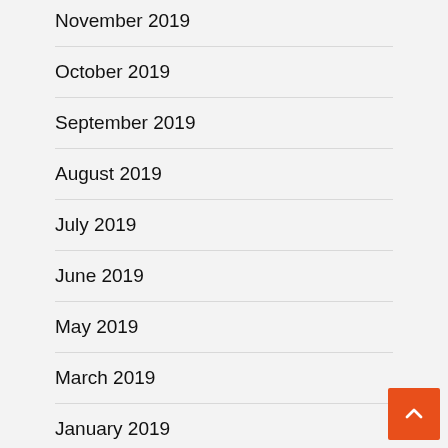November 2019
October 2019
September 2019
August 2019
July 2019
June 2019
May 2019
March 2019
January 2019
September 2018